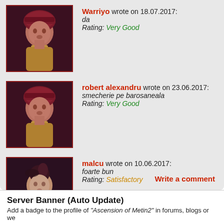Warriyo wrote on 18.07.2017:
da
Rating: Very Good
robert alexandru wrote on 23.06.2017:
smecherie pe barosaneala
Rating: Very Good
malcu wrote on 10.06.2017:
foarte bun
Rating: Satisfactory
Write a comment
Server Banner (Auto Update)
Add a badge to the profile of "Ascension of Metin2" in forums, blogs or we